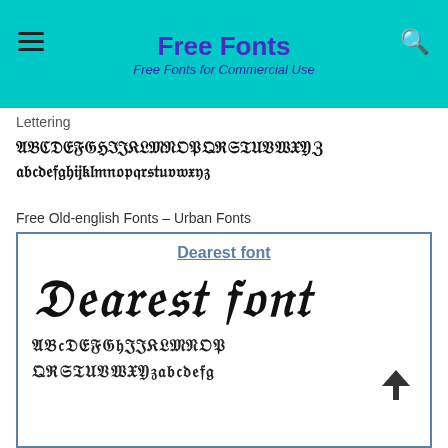Free Fonts
Free Fonts for Commercial Use
Lettering
[Figure (illustration): Old English blackletter alphabet specimen showing uppercase ABCDEFGHIJKLMNOPQRSTUVWXYZ and lowercase abcdefghijklmnopqrstuvwxyz in bold blackletter style]
Free Old-english Fonts – Urban Fonts
[Figure (illustration): Font preview card for 'Dearest font' showing large decorative blackletter text 'Dearest font' and below it the full alphabet ABCDEFGHIJKLMNOP on one row and QRSTUVWXYZ with lowercase letters on a second row, all in ornate blackletter style]